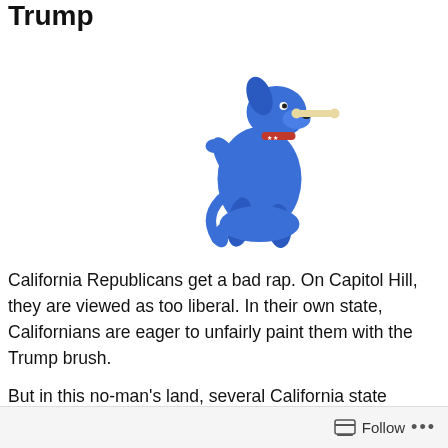Trump
[Figure (illustration): Blue cartoon dog sitting up on hind legs, holding a bone in its mouth, wearing a red collar with stars]
California Republicans get a bad rap. On Capitol Hill, they are viewed as too liberal. In their own state, Californians are eager to unfairly paint them with the Trump brush.
But in this no-man’s land, several California state legislators are not afraid to take on Trump for a callous tweet the president issued this morning to announce FEMA will no longer help California’s fire victims.
Follow ...